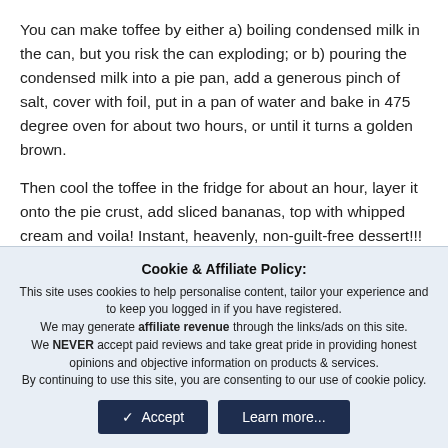You can make toffee by either a) boiling condensed milk in the can, but you risk the can exploding; or b) pouring the condensed milk into a pie pan, add a generous pinch of salt, cover with foil, put in a pan of water and bake in 475 degree oven for about two hours, or until it turns a golden brown.
Then cool the toffee in the fridge for about an hour, layer it onto the pie crust, add sliced bananas, top with whipped cream and voila! Instant, heavenly, non-guilt-free dessert!!!
...I make it myself. Salute to that with a pint that...
Cookie & Affiliate Policy:
This site uses cookies to help personalise content, tailor your experience and to keep you logged in if you have registered.
We may generate affiliate revenue through the links/ads on this site.
We NEVER accept paid reviews and take great pride in providing honest opinions and objective information on products & services.
By continuing to use this site, you are consenting to our use of cookie policy.